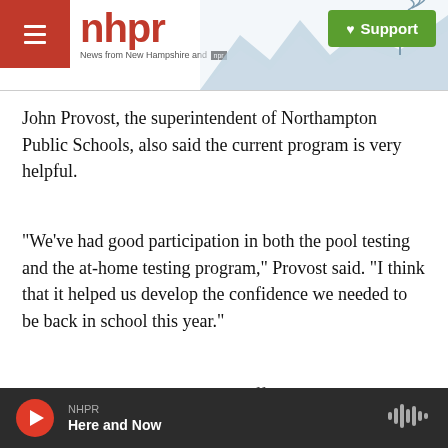nhpr — News from New Hampshire and NPR | Support
John Provost, the superintendent of Northampton Public Schools, also said the current program is very helpful.
"We've had good participation in both the pool testing and the at-home testing program," Provost said. "I think that it helped us develop the confidence we needed to be back in school this year."
In a notice to school districts, Jeff Riley, the state commissioner of elementary and secondary
NHPR — Here and Now